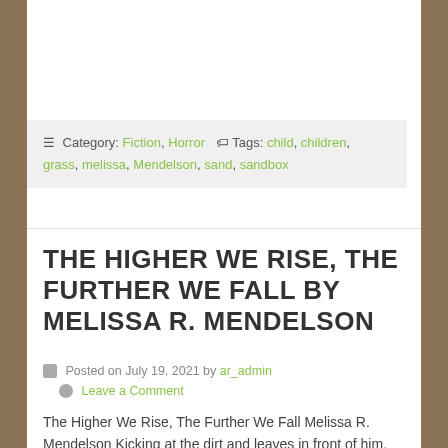≡ Category: Fiction, Horror 🏷 Tags: child, children, grass, melissa, Mendelson, sand, sandbox
THE HIGHER WE RISE, THE FURTHER WE FALL BY MELISSA R. MENDELSON
Posted on July 19, 2021 by ar_admin
Leave a Comment
The Higher We Rise, The Further We Fall Melissa R. Mendelson Kicking at the dirt and leaves in front of him, Tommy trailed behind his friends, Billy and David. He paused for a moment to look back at the gang. The laughter of his